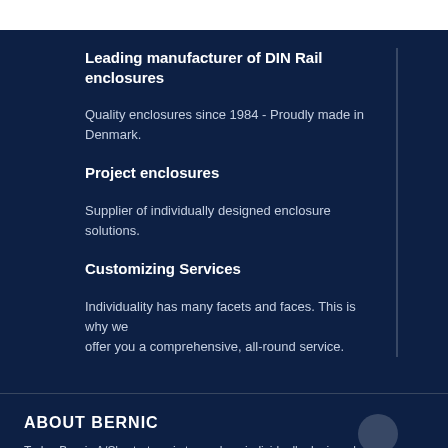Leading manufacturer of DIN Rail enclosures
Quality enclosures since 1984 - Proudly made in Denmark.
Project enclosures
Supplier of individually designed enclosure solutions.
Customizing Services
Individuality has many facets and faces. This is why we offer you a comprehensive, all-round service.
ABOUT BERNIC
Today Bernic A/S's strategy is to produce individually designed...